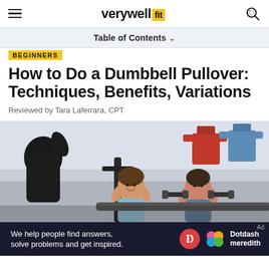verywell fit
Table of Contents
BEGINNERS
How to Do a Dumbbell Pullover: Techniques, Benefits, Variations
Reviewed by Tara Laferrara, CPT
[Figure (photo): People exercising in a gym; a woman smiling and another person doing a pullover exercise with dumbbells; shirts hanging in the background]
We help people find answers, solve problems and get inspired. Dotdash meredith